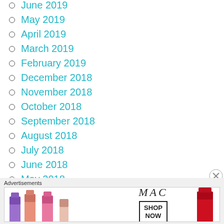June 2019
May 2019
April 2019
March 2019
February 2019
December 2018
November 2018
October 2018
September 2018
August 2018
July 2018
June 2018
May 2018
[Figure (other): MAC cosmetics advertisement showing lipsticks with SHOP NOW button]